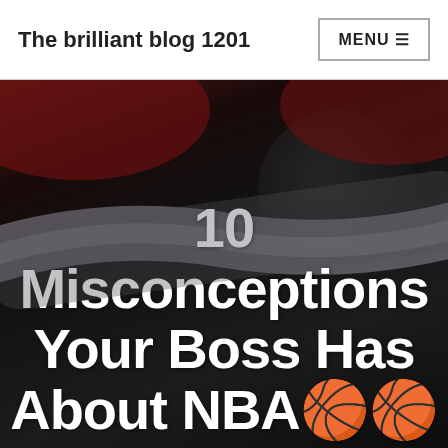The brilliant blog 1201
[Figure (photo): Dark background photo showing a basketball with a curved band/stripe across the middle, with dark red fabric visible in the upper corners.]
10 Misconceptions Your Boss Has About NBA🏀🏀